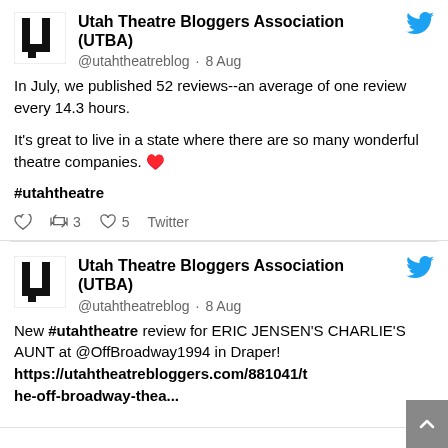Utah Theatre Bloggers Association (UTBA)
@utahtheatreblog · 8 Aug
In July, we published 52 reviews--an average of one review every 14.3 hours.

It's great to live in a state where there are so many wonderful theatre companies. ♥️

#utahtheatre
retweet 3  like 5  Twitter
Utah Theatre Bloggers Association (UTBA)
@utahtheatreblog · 8 Aug
New #utahtheatre review for ERIC JENSEN'S CHARLIE'S AUNT at @OffBroadway1994 in Draper! https://utahtheatrebloggers.com/881041/the-off-broadway-thea...